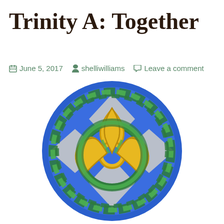Trinity A: Together
June 5, 2017   shelliwilliams   Leave a comment
[Figure (photo): A Celtic trinity knot (triquetra) sculpture with yellow/gold interlocking loops and a green Celtic knotwork border ring, set against a blue and grey background, mounted on a circular blue base.]